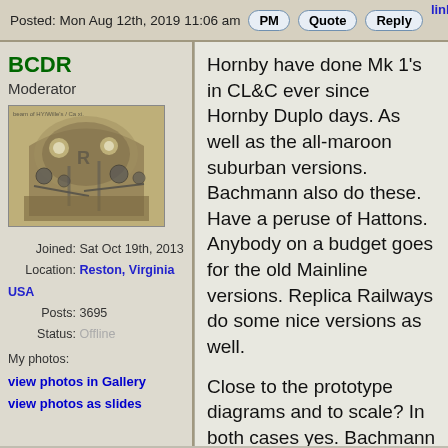Posted: Mon Aug 12th, 2019 11:06 am  PM  Quote  Reply  link to this 2nd post
BCDR
Moderator
Joined: Sat Oct 19th, 2013
Location: Reston, Virginia USA
Posts: 3695
Status: Offline
My photos:
view photos in Gallery
view photos as slides
[Figure (photo): Black and white vintage photograph of the interior of a train cab/locomotive cockpit showing controls, gauges, and pipework]
Hornby have done Mk 1's in CL&C ever since Hornby Duplo days. As well as the all-maroon suburban versions. Bachmann also do these. Have a peruse of Hattons. Anybody on a budget goes for the old Mainline versions. Replica Railways do some nice versions as well.
Close to the prototype diagrams and to scale? In both cases yes. Bachmann seems to lead in detailing, the latest Hornby ones seem to be in the railroad range with molded details. Gangways need improving on both due to the "toy-train" distances between the coaches. One interesting feature of the early Mk 1